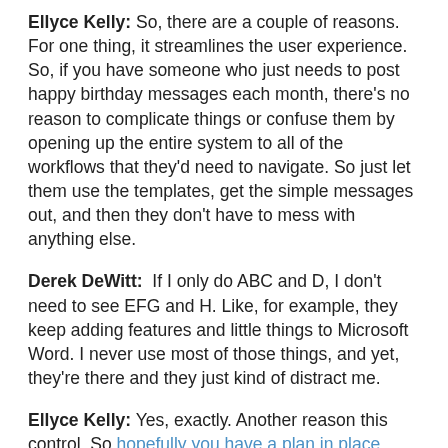Ellyce Kelly: So, there are a couple of reasons. For one thing, it streamlines the user experience. So, if you have someone who just needs to post happy birthday messages each month, there's no reason to complicate things or confuse them by opening up the entire system to all of the workflows that they'd need to navigate. So just let them use the templates, get the simple messages out, and then they don't have to mess with anything else.
Derek DeWitt: If I only do ABC and D, I don't need to see EFG and H. Like, for example, they keep adding features and little things to Microsoft Word. I never use most of those things, and yet, they're there and they just kind of distract me.
Ellyce Kelly: Yes, exactly. Another reason this control. So hopefully you have a plan in place.